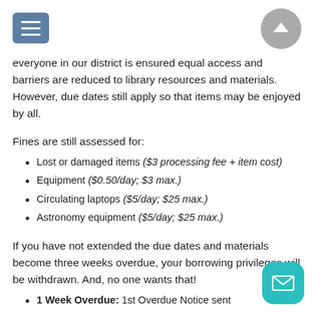everyone in our district is ensured equal access and barriers are reduced to library resources and materials. However, due dates still apply so that items may be enjoyed by all.
Fines are still assessed for:
Lost or damaged items ($3 processing fee + item cost)
Equipment ($0.50/day; $3 max.)
Circulating laptops ($5/day; $25 max.)
Astronomy equipment ($5/day; $25 max.)
If you have not extended the due dates and materials become three weeks overdue, your borrowing privileges will be withdrawn. And, no one wants that!
1 Week Overdue: 1st Overdue Notice sent
2 Weeks Overdue: 2nd Overdue Notice sent